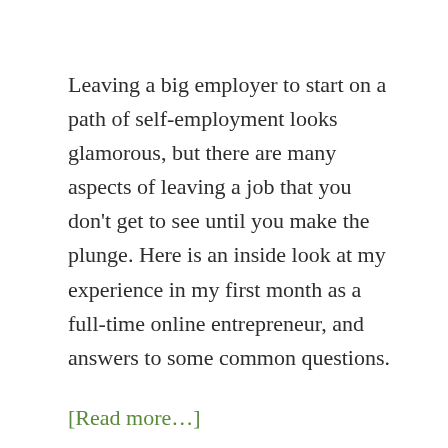Leaving a big employer to start on a path of self-employment looks glamorous, but there are many aspects of leaving a job that you don't get to see until you make the plunge. Here is an inside look at my experience in my first month as a full-time online entrepreneur, and answers to some common questions.
[Read more…]
Filed Under: Career, Personal Profitability Podcast, Side Hustle, Time Management, Travel